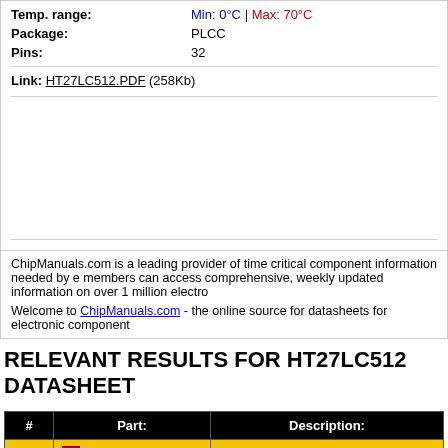Temp. range: Min: 0°C | Max: 70°C
Package: PLCC
Pins: 32
Link: HT27LC512.PDF (258Kb)
ChipManuals.com is a leading provider of time critical component information needed by e... members can access comprehensive, weekly updated information on over 1 million electro...
Welcome to ChipManuals.com - the online source for datasheets for electronic component...
RELEVANT RESULTS FOR HT27LC512 DATASHEET
| # | Part: | Description: |
| --- | --- | --- |
| 1. | HT27LC010 | CMOS 128K X 8-Bit OTP EPROM |
| 2. | HT27LC020 | OTP CMOS 256Kx 8-Bit EPROM |